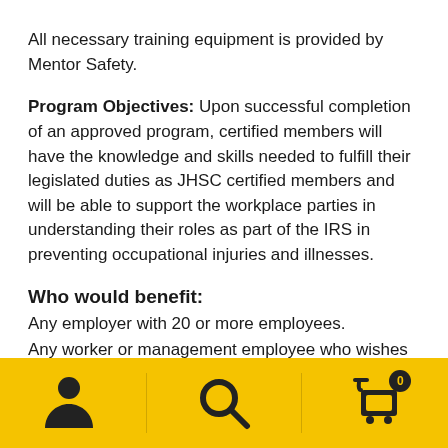All necessary training equipment is provided by Mentor Safety.
Program Objectives: Upon successful completion of an approved program, certified members will have the knowledge and skills needed to fulfill their legislated duties as JHSC certified members and will be able to support the workplace parties in understanding their roles as part of the IRS in preventing occupational injuries and illnesses.
Who would benefit:
Any employer with 20 or more employees.
Any worker or management employee who wishes to
[Figure (infographic): Bottom navigation bar with yellow background containing three icons: user/person icon, search/magnifying glass icon, and shopping cart icon with badge showing 0]